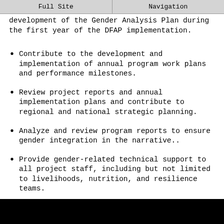Full Site | Navigation
development of the Gender Analysis Plan during the first year of the DFAP implementation.
Contribute to the development and implementation of annual program work plans and performance milestones.
Review project reports and annual implementation plans and contribute to regional and national strategic planning.
Analyze and review program reports to ensure gender integration in the narrative..
Provide gender-related technical support to all project staff, including but not limited to livelihoods, nutrition, and resilience teams.